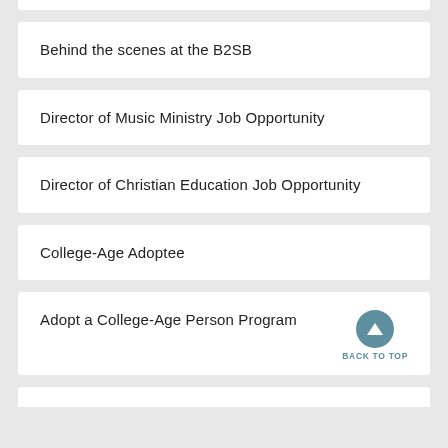Behind the scenes at the B2SB
Director of Music Ministry Job Opportunity
Director of Christian Education Job Opportunity
College-Age Adoptee
Adopt a College-Age Person Program